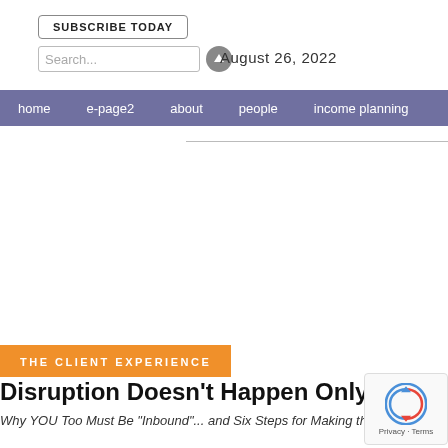SUBSCRIBE TODAY
Search... August 26, 2022
home | e-page2 | about | people | income planning
THE CLIENT EXPERIENCE
Disruption Doesn't Happen Only to th
Why YOU Too Must Be "Inbound"... and Six Steps for Making the Shift